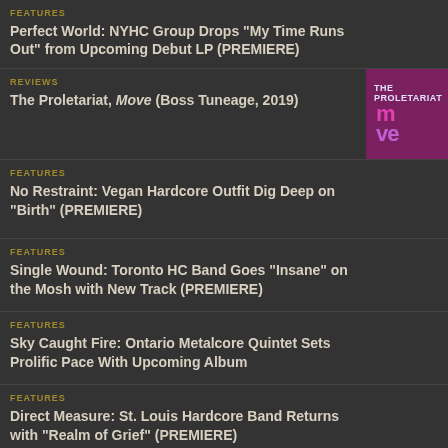FEATURES — Perfect World: NYHC Group Drops "My Time Runs Out" from Upcoming Debut LP (PREMIERE)
REVIEWS — The Proletariat, Move (Boss Tuneage, 2019)
FEATURES — No Restraint: Vegan Hardcore Outfit Dig Deep on "Birth" (PREMIERE)
FEATURES — Single Wound: Toronto HC Band Goes "Insane" on the Mosh with New Track (PREMIERE)
FEATURES — Sky Caught Fire: Ontario Metalcore Quintet Sets Prolific Pace With Upcoming Album
FEATURES — Direct Measure: St. Louis Hardcore Band Returns with "Realm of Grief" (PREMIERE)
INTERVIEWS — Brooker's Profile Keith Moore (Brooker's review...)